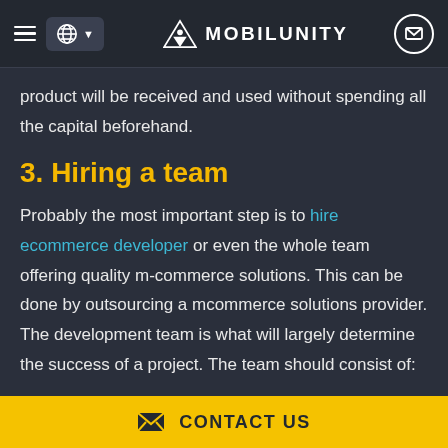MOBILUNITY
product will be received and used without spending all the capital beforehand.
3. Hiring a team
Probably the most important step is to hire ecommerce developer or even the whole team offering quality m-commerce solutions. This can be done by outsourcing a mcommerce solutions provider. The development team is what will largely determine the success of a project. The team should consist of:
CONTACT US